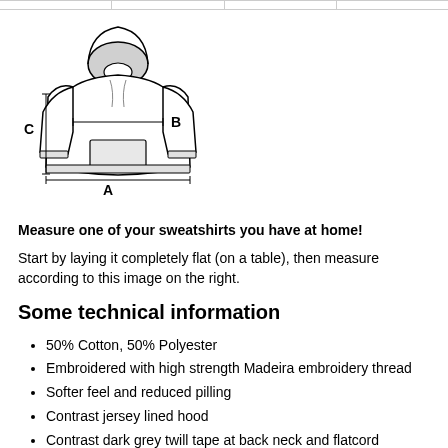|  |
[Figure (illustration): Diagram of a hoodie sweatshirt with measurement labels A (body width at hem), B (chest width), and C (shoulder width), shown from the front with bracket lines indicating measurement points.]
Measure one of your sweatshirts you have at home!
Start by laying it completely flat (on a table), then measure according to this image on the right.
Some technical information
50% Cotton, 50% Polyester
Embroidered with high strength Madeira embroidery thread
Softer feel and reduced pilling
Contrast jersey lined hood
Contrast dark grey twill tape at back neck and flatcord
Pouch pocket